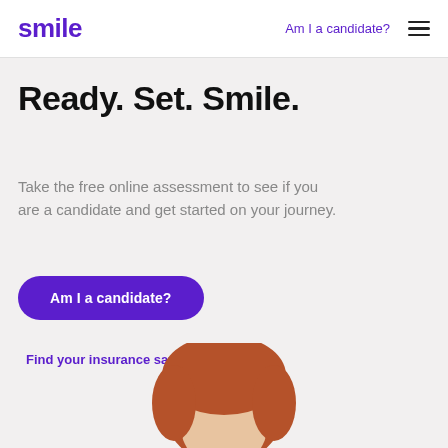smile | Am I a candidate?
Ready. Set. Smile.
Take the free online assessment to see if you are a candidate and get started on your journey.
Am I a candidate?
Find your insurance savings instantly.
[Figure (photo): Partial photo of a person with red/auburn hair visible at the bottom of the page]